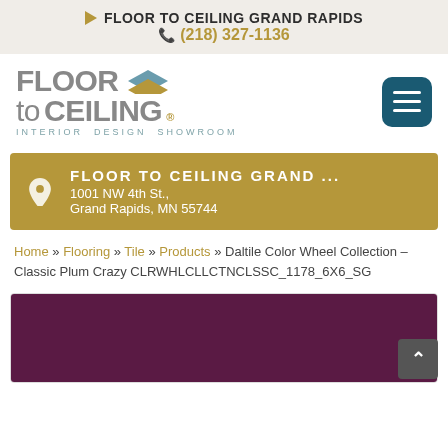FLOOR TO CEILING GRAND RAPIDS
(218) 327-1136
[Figure (logo): Floor to Ceiling Interior Design Showroom logo with stacked diamond shapes]
FLOOR TO CEILING GRAND ...
1001 NW 4th St.,
Grand Rapids, MN 55744
Home » Flooring » Tile » Products » Daltile Color Wheel Collection – Classic Plum Crazy CLRWHLCLLCTNCLSSC_1178_6X6_SG
[Figure (photo): Dark plum/purple colored tile product image]